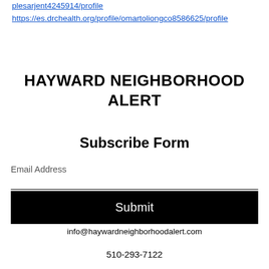plesarjent4245914/profile
https://es.drchealth.org/profile/omartoliongco8586625/profile
HAYWARD NEIGHBORHOOD ALERT
Subscribe Form
Email Address
Submit
info@haywardneighborhoodalert.com
510-293-7122